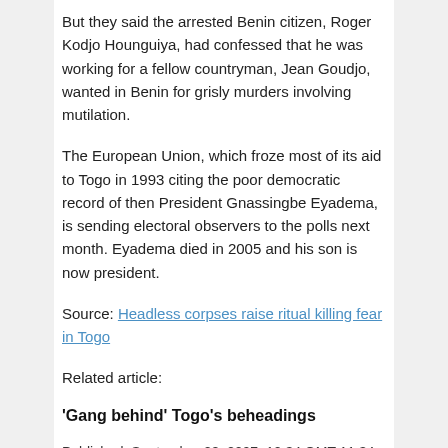But they said the arrested Benin citizen, Roger Kodjo Hounguiya, had confessed that he was working for a fellow countryman, Jean Goudjo, wanted in Benin for grisly murders involving mutilation.
The European Union, which froze most of its aid to Togo in 1993 citing the poor democratic record of then President Gnassingbe Eyadema, is sending electoral observers to the polls next month. Eyadema died in 2005 and his son is now president.
Source: Headless corpses raise ritual killing fear in Togo
Related article:
‘Gang behind’ Togo’s beheadings
Published: September 28, 2007, 10:34 GMT 11:34 UK
By: BBC
Togolese police say they are probing what could be a